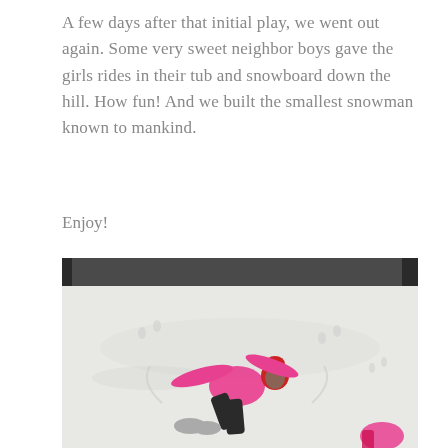A few days after that initial play, we went out again. Some very sweet neighbor boys gave the girls rides in their tub and snowboard down the hill. How fun! And we built the smallest snowman known to mankind.
Enjoy!
[Figure (photo): A child in a pink jacket and red hat lying in the snow making a snow angel, with snowy ground and dark vehicles visible in the background. Another child in pink is partially visible at the bottom right.]